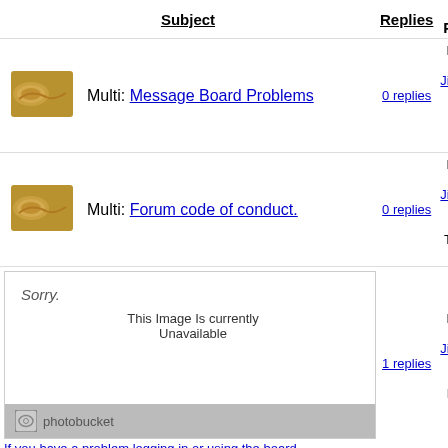Subject   Replies   Last Post T U
Multi: Message Board Problems — 0 replies — Last Post By Jim_Alaska at 18:12:14 Thu Sep 28 2017
Multi: Forum code of conduct. — 0 replies — Last Post By Jim_Alaska at 06:54:17 Thu Aug 7 2003
[Figure (screenshot): Photobucket image unavailable placeholder with Sorry. This Image Is Currently Unavailable message]
If you have a problem logging in or using the board... — 1 replies — Last Post By Jim_Alaska at 01:46:36 Fri Jul 18 2008
[Figure (screenshot): Photobucket image unavailable placeholder with Sorry. This Image Is Currently Unavailable message]
Legal Fund drawing: American Gold and Silver coin winners!!! — 4 replies — Last Post By aunuts at 16:07:54 Wed Mar 5 2014